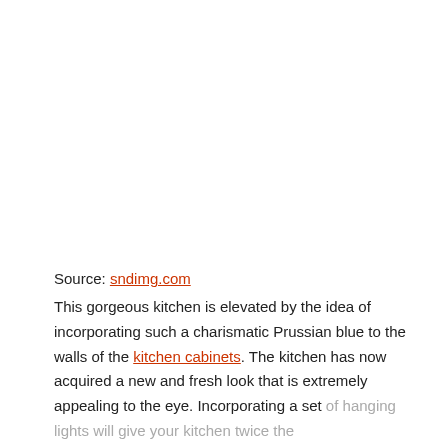Source: sndimg.com
This gorgeous kitchen is elevated by the idea of incorporating such a charismatic Prussian blue to the walls of the kitchen cabinets. The kitchen has now acquired a new and fresh look that is extremely appealing to the eye. Incorporating a set of hanging lights will give your kitchen twice the radiance!